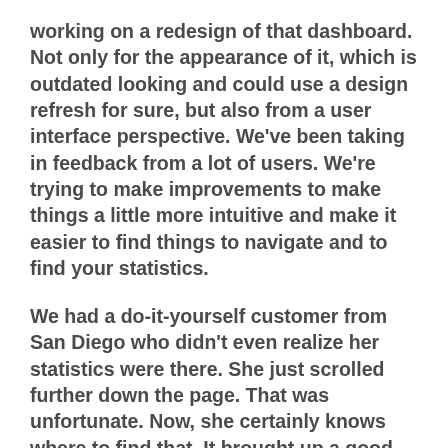working on a redesign of that dashboard. Not only for the appearance of it, which is outdated looking and could use a design refresh for sure, but also from a user interface perspective. We've been taking in feedback from a lot of users. We're trying to make improvements to make things a little more intuitive and make it easier to find things to navigate and to find your statistics.
We had a do-it-yourself customer from San Diego who didn't even realize her statistics were there. She just scrolled further down the page. That was unfortunate. Now, she certainly knows where to find that. It brought up a good point that our dashboard needs to be very clear where you can find everything that you need to, to do what you need to do in an efficient manner. We've been taking in that feedback. You will see some changes. They won't affect any of the functioning of your podcast publishing in any way. It should be happening. It's coming up pretty soon before our